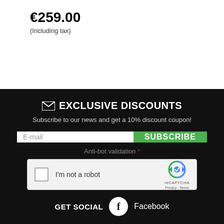€259.00
(Including tax)
EXCLUSIVE DISCOUNTS
Subscribe to our news and get a 10% discount coupon!
E-mail
SUBSCRIBE
Anti-bot validation *
[Figure (other): reCAPTCHA widget with checkbox labeled I'm not a robot]
GET SOCIAL  Facebook